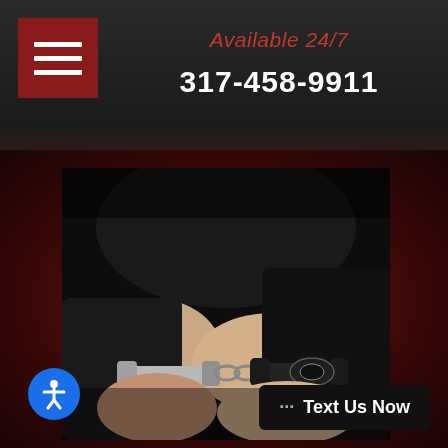Available 24/7
317-458-9911
[Figure (photo): Person in handcuffs with hands behind back, showing handcuffs close-up, dark background — criminal defense law firm imagery]
··· Text Us Now